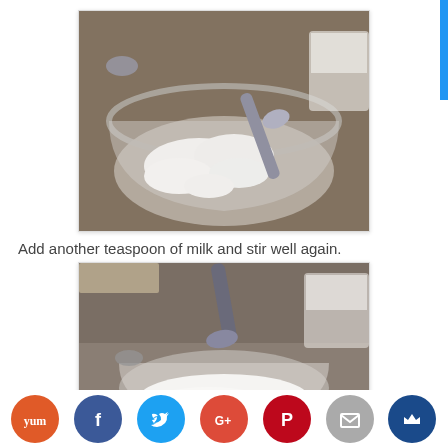[Figure (photo): A glass bowl containing crumbled white cheese/ricotta with a spoon, on a granite countertop with a milk container in background.]
Add another teaspoon of milk and stir well again.
[Figure (photo): A glass bowl with creamy white mixture and a spoon being held above it, with a milk container visible in the background.]
[Figure (infographic): Social sharing bar with icons: Yum (orange), Facebook (blue), Twitter (light blue), Google+ (red), Pinterest (dark red), email (gray), crown/save (dark blue).]